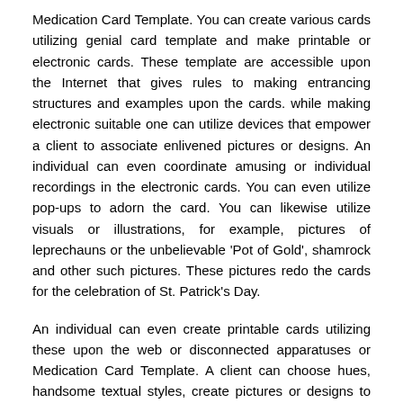Medication Card Template. You can create various cards utilizing genial card template and make printable or electronic cards. These template are accessible upon the Internet that gives rules to making entrancing structures and examples upon the cards. while making electronic suitable one can utilize devices that empower a client to associate enlivened pictures or designs. An individual can even coordinate amusing or individual recordings in the electronic cards. You can even utilize pop-ups to adorn the card. You can likewise utilize visuals or illustrations, for example, pictures of leprechauns or the unbelievable 'Pot of Gold', shamrock and other such pictures. These pictures redo the cards for the celebration of St. Patrick's Day.
An individual can even create printable cards utilizing these upon the web or disconnected apparatuses or Medication Card Template. A client can choose hues, handsome textual styles, create pictures or designs to create a vital card. A printable card can be encompassed subsequent to sweet aromas of natural products or crisp dewy fragrances. upon the off unplanned that you need to create purposefully assembled welcome, you can utilize temperate herbs as adornments for the card. You can cut an vast leaf into the state of three-leafed shamrock. You can likewise sprinkle paint all higher than for making it outwardly vehement. One can even paint a pot of gold or pull a leprechaun and compose a